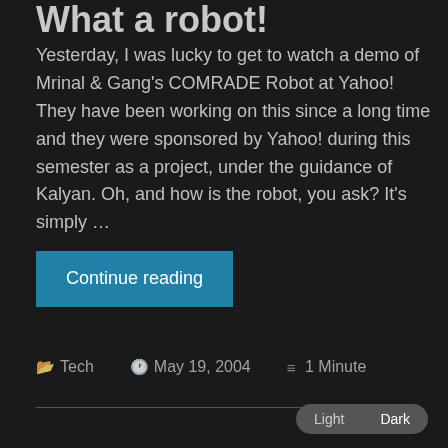What a robot!
Yesterday, I was lucky to get to watch a demo of Mrinal & Gang's COMRADE Robot at Yahoo! They have been working on this since a long time and they were sponsored by Yahoo! during this semester as a project, under the guidance of Kalyan. Oh, and how is the robot, you ask? It's simply …
Continue reading
Tech   May 19, 2004   1 Minute
Light  Dark